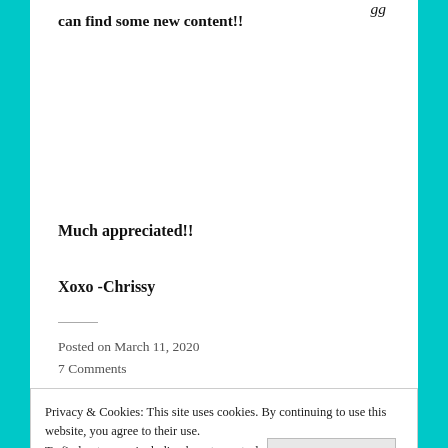can find some new content!!
Much appreciated!!
Xoxo -Chrissy
Posted on March 11, 2020
7 Comments
Privacy & Cookies: This site uses cookies. By continuing to use this website, you agree to their use.
To find out more, including how to control cookies, see here: Cookie Policy
Close and accept